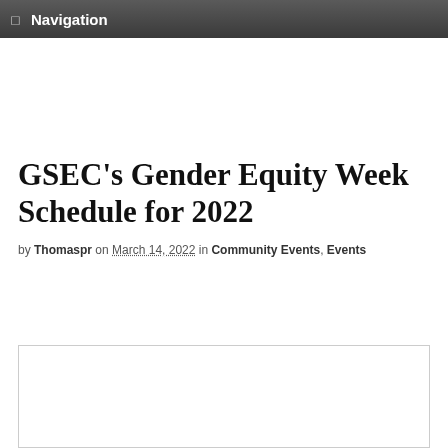☰ Navigation
GSEC's Gender Equity Week Schedule for 2022
by Thomaspr on March 14, 2022 in Community Events, Events
[Figure (other): Empty white image box with border, partially visible at bottom of page]